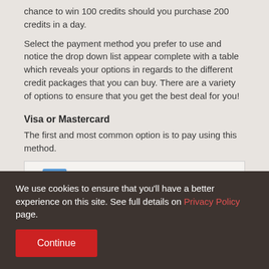chance to win 100 credits should you purchase 200 credits in a day.
Select the payment method you prefer to use and notice the drop down list appear complete with a table which reveals your options in regards to the different credit packages that you can buy. There are a variety of options to ensure that you get the best deal for you!
Visa or Mastercard
The first and most common option is to pay using this method.
[Figure (screenshot): Screenshot showing a payment method selection interface with a credit card icon, pin lines, and a teal 'Pay by VISA or MasterCard' dropdown button.]
We use cookies to ensure that you'll have a better experience on this site. See full details on Privacy Policy page.
Continue